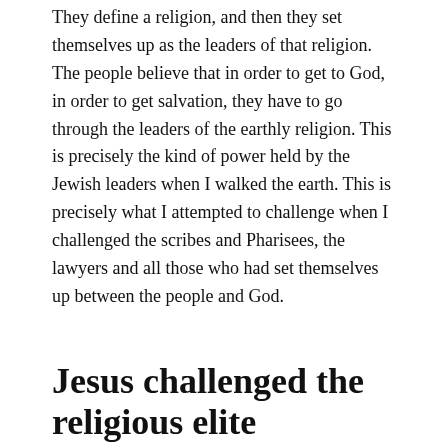They define a religion, and then they set themselves up as the leaders of that religion. The people believe that in order to get to God, in order to get salvation, they have to go through the leaders of the earthly religion. This is precisely the kind of power held by the Jewish leaders when I walked the earth. This is precisely what I attempted to challenge when I challenged the scribes and Pharisees, the lawyers and all those who had set themselves up between the people and God.
Jesus challenged the religious elite
What did I say was one of my most important statements? It is that the kingdom of God is within you! Why do you think the leaders of the Jewish